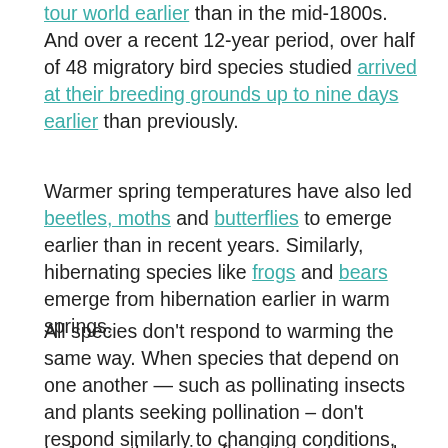tour world earlier than in the mid-1800s. And over a recent 12-year period, over half of 48 migratory bird species studied arrived at their breeding grounds up to nine days earlier than previously.
Warmer spring temperatures have also led beetles, moths and butterflies to emerge earlier than in recent years. Similarly, hibernating species like frogs and bears emerge from hibernation earlier in warm springs.
All species don't respond to warming the same way. When species that depend on one another — such as pollinating insects and plants seeking pollination – don't respond similarly to changing conditions, populations suffer.
In Japan, the spring-flowering ephemeral